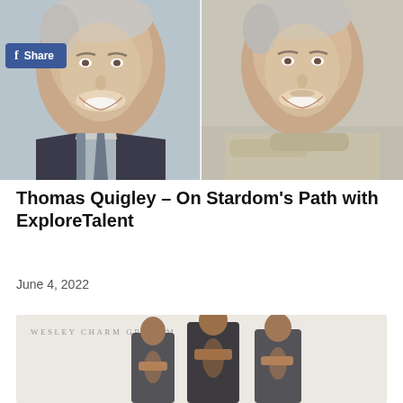[Figure (photo): Two side-by-side photos of middle-aged men smiling. Left: man in dark suit with striped tie, gray hair. Right: man in beige/cream shirt, arms crossed, gray hair, tan background.]
Thomas Quigley – On Stardom's Path with ExploreTalent
June 4, 2022
[Figure (photo): Promotional photo collage for Wesley Charm Graham showing a fit male model in three poses wearing open dark jacket, shirtless, with text 'WESLEY CHARM GRAHAM' at top left.]